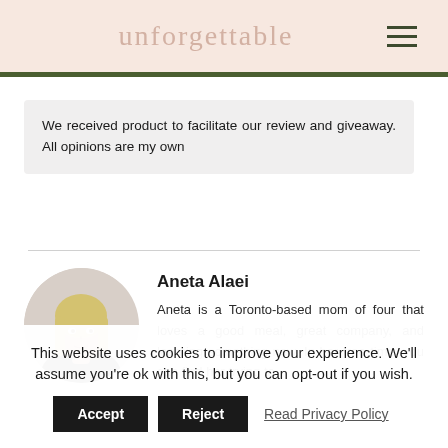unforgettable
We received product to facilitate our review and giveaway. All opinions are my own
Aneta Alaei
Aneta is a Toronto-based mom of four that loves a good meal, great company, and learning something new. In her free time, you can find her trying to
This website uses cookies to improve your experience. We'll assume you're ok with this, but you can opt-out if you wish.
Accept  Reject  Read Privacy Policy